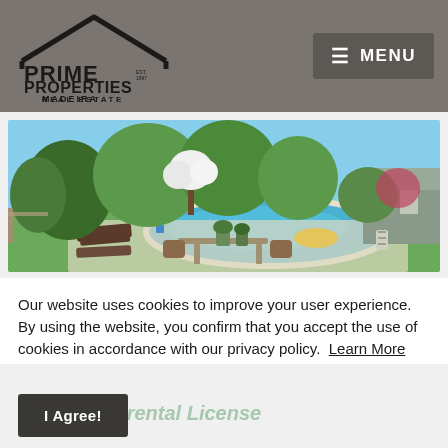Prime Properties Madeira Real Estate — MENU
[Figure (photo): Outdoor swimming pool with lounge chairs, patio table with wicker chairs, lush green trees and garden, blue sky, and a house in the background.]
Our website uses cookies to improve your user experience. By using the website, you confirm that you accept the use of cookies in accordance with our privacy policy. Learn More
Property management
I Agree!
Short term rental License